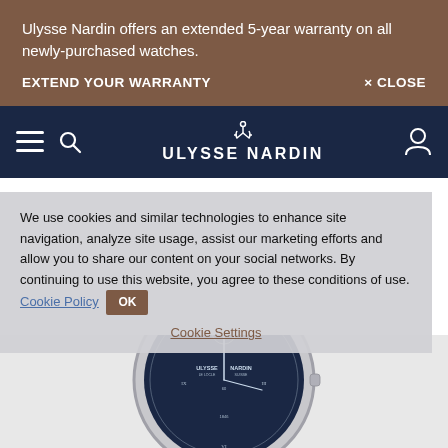Ulysse Nardin offers an extended 5-year warranty on all newly-purchased watches.
EXTEND YOUR WARRANTY        × CLOSE
[Figure (screenshot): Ulysse Nardin navigation bar with hamburger menu, search icon, brand logo with anchor, and user account icon on dark navy background]
We use cookies and similar technologies to enhance site navigation, analyze site usage, assist our marketing efforts and allow you to share our content on your social networks. By continuing to use this website, you agree to these conditions of use. Cookie Policy
Cookie Settings
[Figure (photo): Ulysse Nardin luxury watch with blue dial, Roman numerals, and dark leather strap, partially visible]